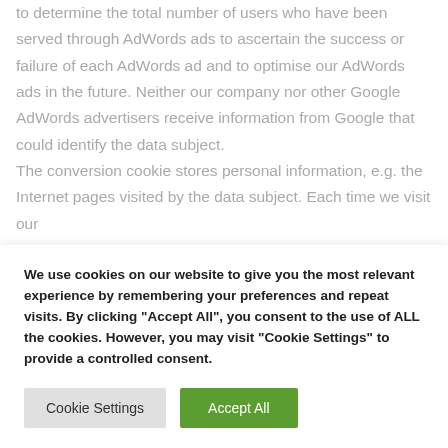to determine the total number of users who have been served through AdWords ads to ascertain the success or failure of each AdWords ad and to optimise our AdWords ads in the future. Neither our company nor other Google AdWords advertisers receive information from Google that could identify the data subject.
The conversion cookie stores personal information, e.g. the Internet pages visited by the data subject. Each time we visit our...
We use cookies on our website to give you the most relevant experience by remembering your preferences and repeat visits. By clicking "Accept All", you consent to the use of ALL the cookies. However, you may visit "Cookie Settings" to provide a controlled consent.